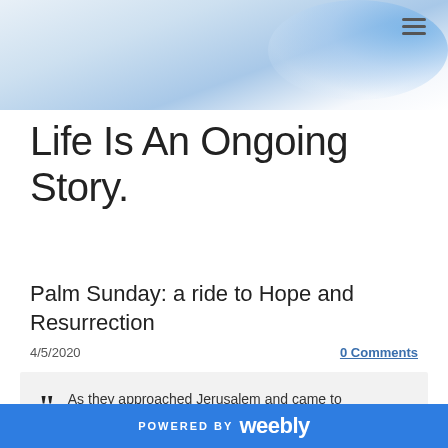[Figure (illustration): Blue watercolor/smoke abstract background in the top portion of the page header, with a hamburger menu icon in the top-right corner]
Life Is An Ongoing Story.
Palm Sunday: a ride to Hope and Resurrection
4/5/2020
0 Comments
As they approached Jerusalem and came to Bethphage on the Mount of Olives, Jesus sent two disciples, saying to
POWERED BY weebly